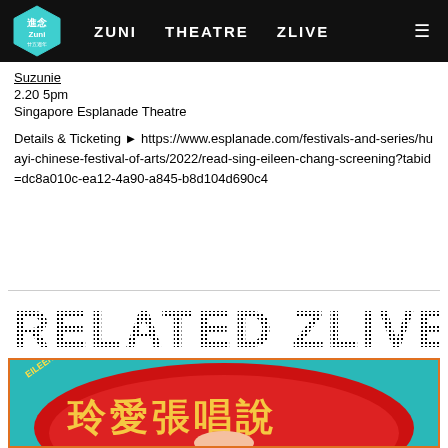ZUNI  THEATRE  ZLIVE
Suzunie
2.20 5pm
Singapore Esplanade Theatre
Details & Ticketing ▶ https://www.esplanade.com/festivals-and-series/huayi-chinese-festival-of-arts/2022/read-sing-eileen-chang-screening?tabid=dc8a010c-ea12-4a90-a845-b8d104d690c4
RELATED ZLIVE
[Figure (photo): Promotional poster for an Eileen Chang 100 event showing Chinese characters 玲愛張唱說 on a colorful red and teal background with a person's photo]